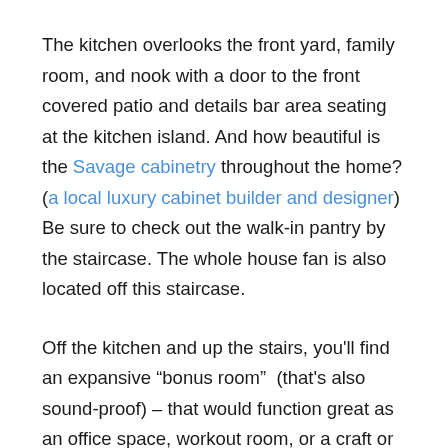The kitchen overlooks the front yard, family room, and nook with a door to the front covered patio and details bar area seating at the kitchen island. And how beautiful is the Savage cabinetry throughout the home? (a local luxury cabinet builder and designer) Be sure to check out the walk-in pantry by the staircase. The whole house fan is also located off this staircase.
Off the kitchen and up the stairs, you'll find an expansive “bonus room”  (that's also sound-proof) – that would function great as an office space, workout room, or a craft or gaming room (we're